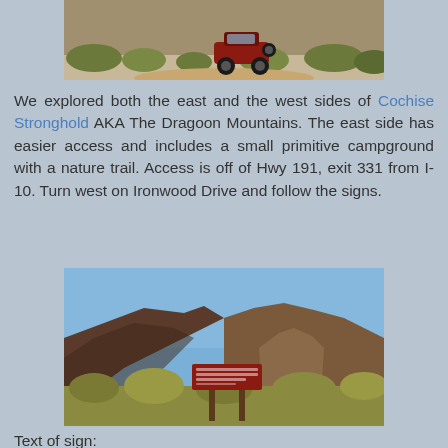[Figure (photo): A red Jeep parked on a dirt trail surrounded by desert scrub brush and rocky terrain.]
We explored both the east and the west sides of Cochise Stronghold AKA The Dragoon Mountains.  The east side has easier access and includes a small primitive campground with a nature trail.  Access is off of Hwy 191, exit 331 from I-10.  Turn west on Ironwood Drive and follow the signs.
[Figure (photo): A National Forest sign reading Cochise Stronghold in front of rocky desert mountains with dry grassland in the foreground under a blue sky.]
Text of sign: